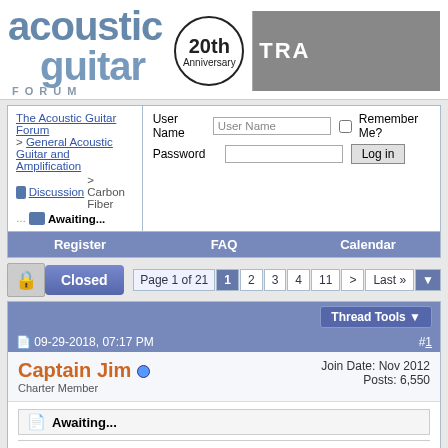[Figure (logo): Acoustic Guitar Forum logo with '20th Anniversary' circle badge and partial guitar image]
The Acoustic Guitar Forum > General Acoustic Guitar and Amplification Discussion > Carbon Fiber Awaiting...
User Name | Password | Remember Me? | Log in
Register | FAQ | Calendar
Closed | Page 1 of 21 | 1 2 3 4 11 > Last »
Thread Tools
09-29-2018, 07:17 PM #1
Captain Jim Charter Member — Join Date: Nov 2012 Posts: 6,550
Awaiting...
We are back in the Tropical Tip, having enjoyed a delightful summer in a cooler climate. The X10 I ordered was supposed to ship yesterday - I needed to have an address where it could be sent, not possible while we were out in our motorhome. The guitar was done